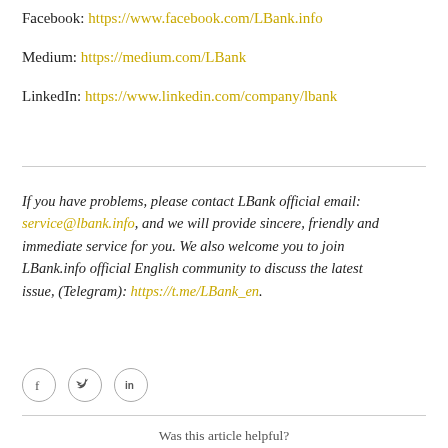Facebook: https://www.facebook.com/LBank.info
Medium: https://medium.com/LBank
LinkedIn: https://www.linkedin.com/company/lbank
If you have problems, please contact LBank official email: service@lbank.info, and we will provide sincere, friendly and immediate service for you. We also welcome you to join LBank.info official English community to discuss the latest issue, (Telegram): https://t.me/LBank_en.
[Figure (illustration): Three social media icons in circles: Facebook (f), Twitter bird, LinkedIn (in)]
Was this article helpful?